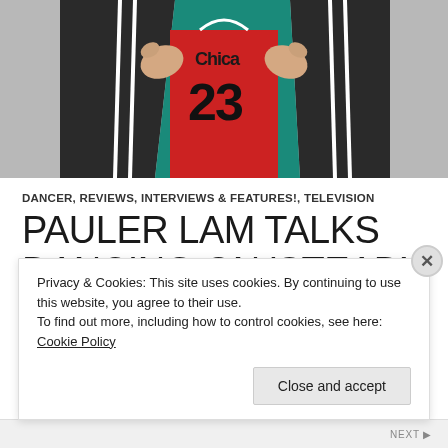[Figure (photo): Person wearing a Chicago Bulls #23 red jersey and black and teal track jacket, hands gripping jacket collar, grey background, cropped at torso]
DANCER, REVIEWS, INTERVIEWS & FEATURES!, TELEVISION
PAULER LAM TALKS DANCING ON 'STEADY MOBBIN' AND PURSUING WHAT MAKES HIM HAPPY
JANUARY 21, 2018  PRESSVA  LEAVE A COMMENT
Privacy & Cookies: This site uses cookies. By continuing to use this website, you agree to their use.
To find out more, including how to control cookies, see here: Cookie Policy
Close and accept